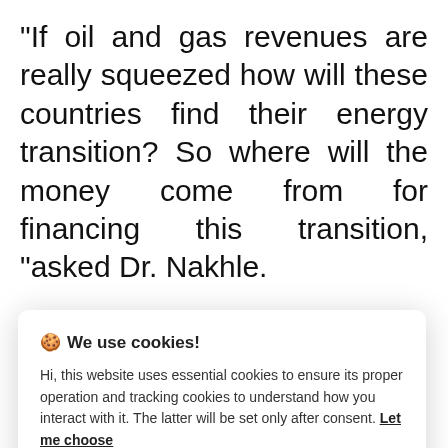"If oil and gas revenues are really squeezed how will these countries find their energy transition? So where will the money come from for financing this transition, "asked Dr. Nakhle.
[Figure (screenshot): Cookie consent modal dialog with title '🍪 We use cookies!', body text about essential and tracking cookies, 'Let me choose' link, green 'Accept all' button, and grey 'Reject all' button.]
have to ask whether and when the